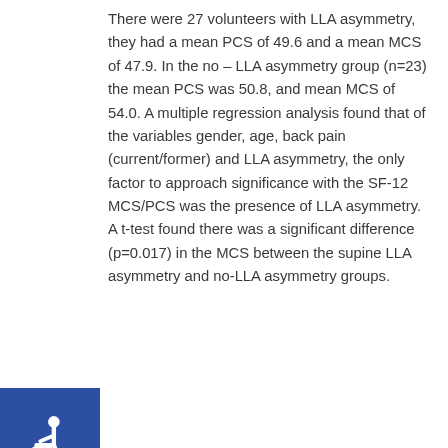There were 27 volunteers with LLA asymmetry, they had a mean PCS of 49.6 and a mean MCS of 47.9. In the no – LLA asymmetry group (n=23) the mean PCS was 50.8, and mean MCS of 54.0. A multiple regression analysis found that of the variables gender, age, back pain (current/former) and LLA asymmetry, the only factor to approach significance with the SF-12 MCS/PCS was the presence of LLA asymmetry. A t-test found there was a significant difference (p=0.017) in the MCS between the supine LLA asymmetry and no-LLA asymmetry groups.
[Figure (illustration): Accessibility icon (wheelchair symbol) in blue square]
Conclusion:
This pilot study suggests that in this group of volunteers (n=50) from the non-clinical general population, those who demonstrated a commonly used sign of subluxation/joint dysfunction – supine leg length alignment asymmetry – had a significantly (P=0.017) lower measure of general health as determined by the SF-12...